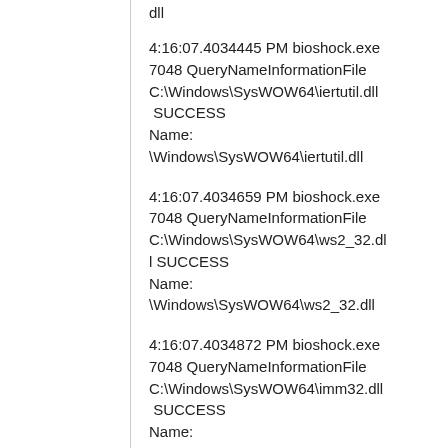dll
4:16:07.4034445 PM bioshock.exe 7048 QueryNameInformationFile C:\Windows\SysWOW64\iertutil.dll  SUCCESS Name: \Windows\SysWOW64\iertutil.dll
4:16:07.4034659 PM bioshock.exe 7048 QueryNameInformationFile C:\Windows\SysWOW64\ws2_32.dll SUCCESS Name: \Windows\SysWOW64\ws2_32.dll
4:16:07.4034872 PM bioshock.exe 7048 QueryNameInformationFile C:\Windows\SysWOW64\imm32.dll  SUCCESS Name: \Windows\SysWOW64\imm32.dll
4:16:07.4035185 PM bioshock...